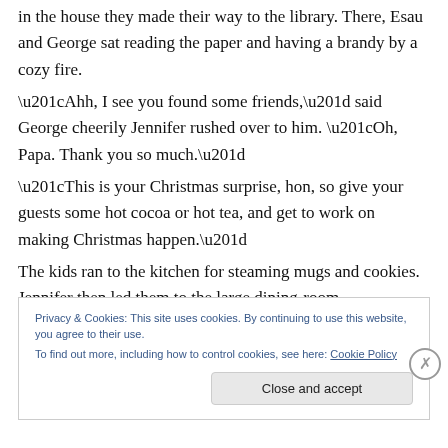in the house they made their way to the library. There, Esau and George sat reading the paper and having a brandy by a cozy fire.
“Ahh, I see you found some friends,” said George cheerily Jennifer rushed over to him. “Oh, Papa. Thank you so much.”
“This is your Christmas surprise, hon, so give your guests some hot cocoa or hot tea, and get to work on making Christmas happen.”
The kids ran to the kitchen for steaming mugs and cookies. Jennifer then led them to the large dining-room.
Privacy & Cookies: This site uses cookies. By continuing to use this website, you agree to their use.
To find out more, including how to control cookies, see here: Cookie Policy